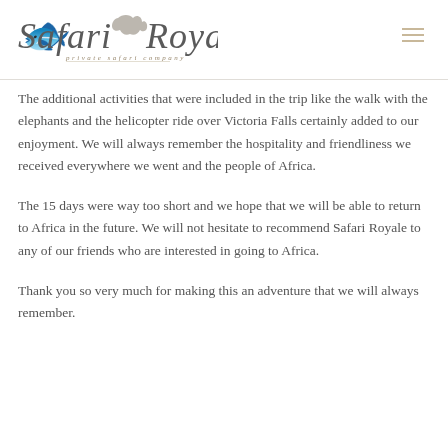Safari Royale — private safari company
The additional activities that were included in the trip like the walk with the elephants and the helicopter ride over Victoria Falls certainly added to our enjoyment. We will always remember the hospitality and friendliness we received everywhere we went and the people of Africa.
The 15 days were way too short and we hope that we will be able to return to Africa in the future. We will not hesitate to recommend Safari Royale to any of our friends who are interested in going to Africa.
Thank you so very much for making this an adventure that we will always remember.